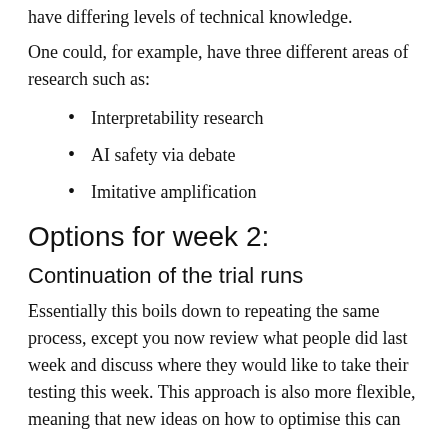have differing levels of technical knowledge.
One could, for example, have three different areas of research such as:
Interpretability research
AI safety via debate
Imitative amplification
Options for week 2:
Continuation of the trial runs
Essentially this boils down to repeating the same process, except you now review what people did last week and discuss where they would like to take their testing this week. This approach is also more flexible, meaning that new ideas on how to optimise this can